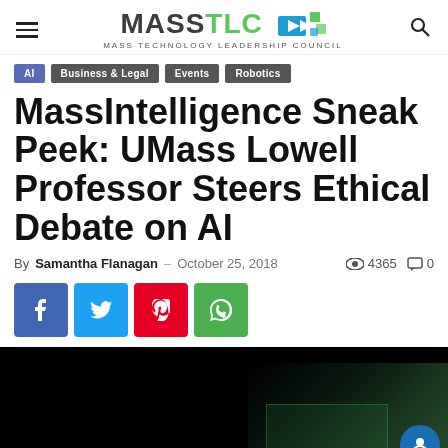MASS TLC – MASS TECHNOLOGY LEADERSHIP COUNCIL
AI
Business & Legal
Events
Robotics
MassIntelligence Sneak Peek: UMass Lowell Professor Steers Ethical Debate on AI
By Samantha Flanagan - October 25, 2018  👁 4365  💬 0
[Figure (screenshot): Social sharing buttons: Facebook (blue), Twitter (cyan), Pinterest (red), WhatsApp (green)]
[Figure (photo): Hero image with dark/black background and a green-tinted technology graphic in the lower right corner]